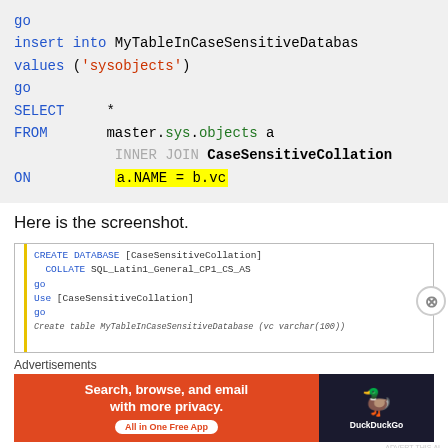[Figure (screenshot): SQL code block showing: go, insert into MyTableInCaseSensitiveDatabas, values ('sysobjects'), go, SELECT *, FROM master.sys.objects a, INNER JOIN CaseSensitiveCollation, ON a.NAME = b.vc (highlighted in yellow)]
Here is the screenshot.
[Figure (screenshot): Screenshot of SQL Server Management Studio showing SQL code: CREATE DATABASE [CaseSensitiveCollation] COLLATE SQL_Latin1_General_CP1_CS_AS go Use [CaseSensitiveCollation] go Create table MyTableInCaseSensitiveDatabase...]
Advertisements
[Figure (screenshot): DuckDuckGo advertisement banner: Search, browse, and email with more privacy. All in One Free App]